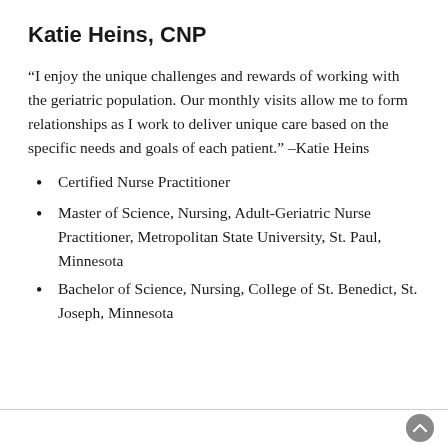Katie Heins, CNP
“I enjoy the unique challenges and rewards of working with the geriatric population. Our monthly visits allow me to form relationships as I work to deliver unique care based on the specific needs and goals of each patient.” –Katie Heins
Certified Nurse Practitioner
Master of Science, Nursing, Adult-Geriatric Nurse Practitioner, Metropolitan State University, St. Paul, Minnesota
Bachelor of Science, Nursing, College of St. Benedict, St. Joseph, Minnesota